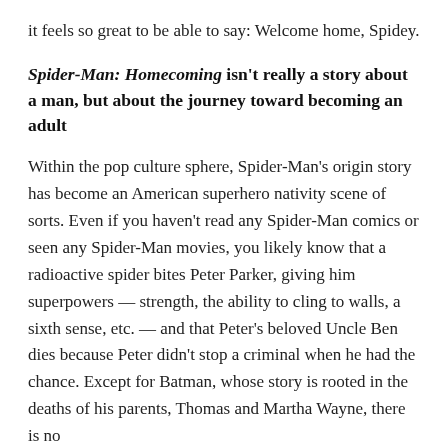it feels so great to be able to say: Welcome home, Spidey.
Spider-Man: Homecoming isn't really a story about a man, but about the journey toward becoming an adult
Within the pop culture sphere, Spider-Man's origin story has become an American superhero nativity scene of sorts. Even if you haven't read any Spider-Man comics or seen any Spider-Man movies, you likely know that a radioactive spider bites Peter Parker, giving him superpowers — strength, the ability to cling to walls, a sixth sense, etc. — and that Peter's beloved Uncle Ben dies because Peter didn't stop a criminal when he had the chance. Except for Batman, whose story is rooted in the deaths of his parents, Thomas and Martha Wayne, there is no